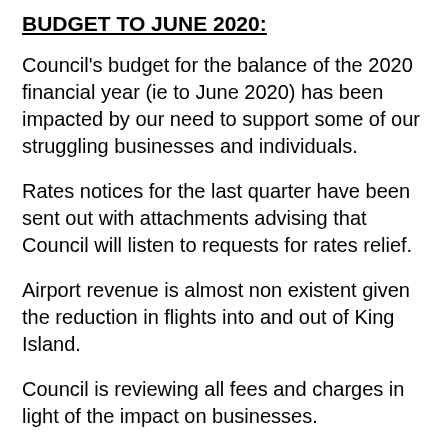BUDGET TO JUNE 2020:
Council’s budget for the balance of the 2020 financial year (ie to June 2020) has been impacted by our need to support some of our struggling businesses and individuals.
Rates notices for the last quarter have been sent out with attachments advising that Council will listen to requests for rates relief.
Airport revenue is almost non existent given the reduction in flights into and out of King Island.
Council is reviewing all fees and charges in light of the impact on businesses.
BUDGET FOR 2021 AND LONGER TERM:
These are extremely difficult exercises given the high degree of future uncertainty. We must have some plan but staff and Councillors are struggling to